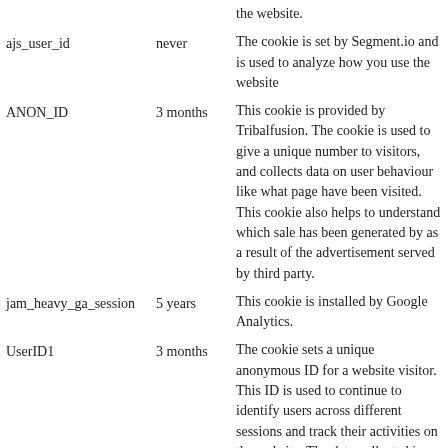| Cookie | Duration | Description |
| --- | --- | --- |
|  |  | the website. |
| ajs_user_id | never | The cookie is set by Segment.io and is used to analyze how you use the website |
| ANON_ID | 3 months | This cookie is provided by Tribalfusion. The cookie is used to give a unique number to visitors, and collects data on user behaviour like what page have been visited. This cookie also helps to understand which sale has been generated by as a result of the advertisement served by third party. |
| jam_heavy_ga_session | 5 years | This cookie is installed by Google Analytics. |
| UserID1 | 3 months | The cookie sets a unique anonymous ID for a website visitor. This ID is used to continue to identify users across different sessions and track their activities on the website. The data collected is used for analysis. |